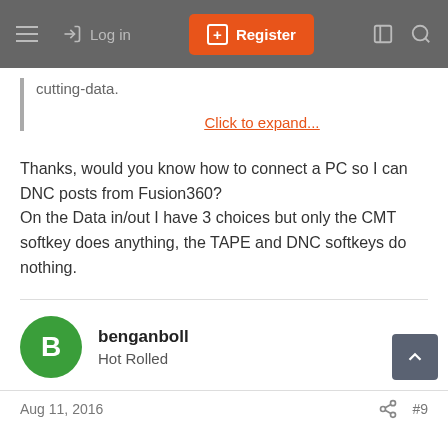Log in  Register
cutting-data.
Click to expand...
Thanks, would you know how to connect a PC so I can DNC posts from Fusion360?
On the Data in/out I have 3 choices but only the CMT softkey does anything, the TAPE and DNC softkeys do nothing.
benganboll
Hot Rolled
Aug 11, 2016  #9